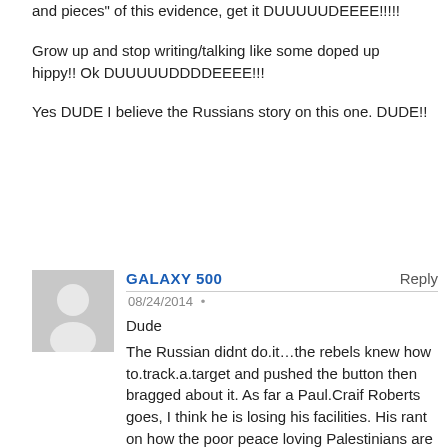and pieces" of this evidence, get it DUUUUUDEEEE!!!!!
Grow up and stop writing/talking like some doped up hippy!! Ok DUUUUUDDDDEEEE!!!
Yes DUDE I believe the Russians story on this one. DUDE!!
GALAXY 500
Reply
08/24/2014 •
Dude
The Russian didnt do.it…the rebels knew how to.track.a.target and pushed the button then bragged about it. As far a Paul.Craif Roberts goes, I think he is losing his facilities. His rant on how the poor peace loving Palestinians are just misunderstood